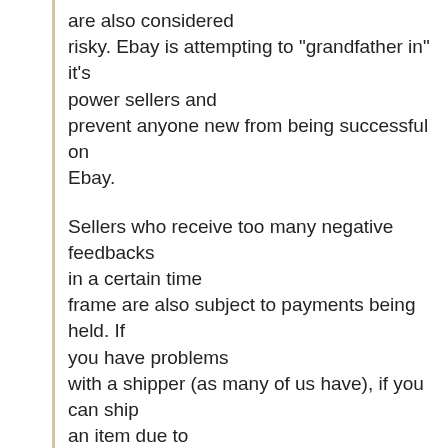are also considered risky. Ebay is attempting to "grandfather in" it's power sellers and prevent anyone new from being successful on Ebay.
Sellers who receive too many negative feedbacks in a certain time frame are also subject to payments being held. If you have problems with a shipper (as many of us have), if you can ship an item due to Ebay and Paypal holding your funds and lose your status with a dropshipper, not only do you get rewarded with your payments being held, you are pushed out of business.
FFES—Ebay wants sellers to think that the fees